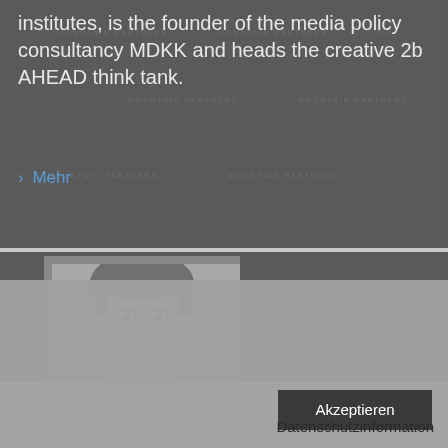institutes, is the founder of the media policy consultancy MDKK and heads the creative 2b AHEAD think tank.
> Mehr
[Figure (photo): Black and white headshot photo of a man]
Um die Webseite optimal gestalten und fortlaufend verbessern zu können, verwenden wir Cookies. Durch die weitere Nutzung der Webseite stimmen Sie der Verwendung von Cookies zu. Hinweise zur Verwaltung und zum Widerspruch erhalten Sie in unseren Datenschutzinformationen.
Akzeptieren
Datenschutzinformation